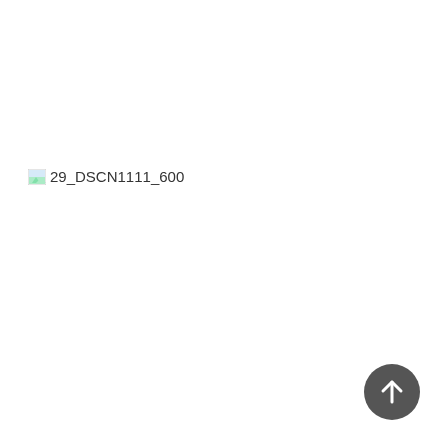[Figure (photo): Broken/missing image placeholder with alt text '29_DSCN1111_600']
[Figure (other): Dark circular button with white upward arrow icon in bottom-right corner]